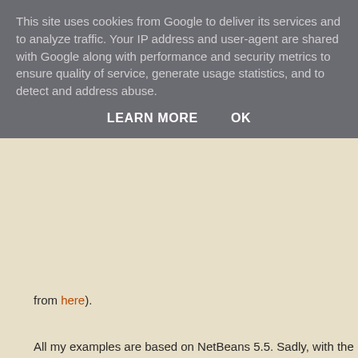This site uses cookies from Google to deliver its services and to analyze traffic. Your IP address and user-agent are shared with Google along with performance and security metrics to ensure quality of service, generate usage statistics, and to detect and address abuse.
LEARN MORE    OK
from here).
All my examples are based on NetBeans 5.5. Sadly, with the NetBea... approaching, most of the Maven-integration work is being put there. 5.5 version MevenIDE is somewhat beta quality and you're suppose... NetBeans 6.0 (now at milestone 10).
You might stumble onto some bugs for the 5.5 integration but it's a w... people still working on it and it's quite easy to find workarounds or he... (Milos Kleint is usually there to help).